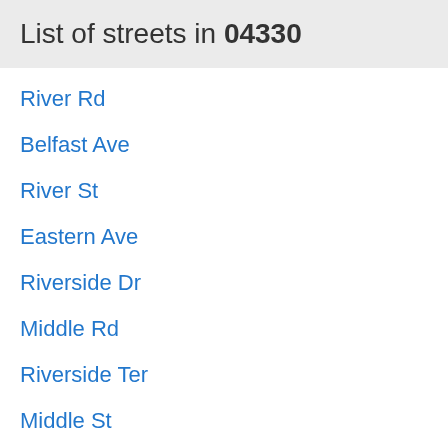List of streets in 04330
River Rd
Belfast Ave
River St
Eastern Ave
Riverside Dr
Middle Rd
Riverside Ter
Middle St
Western Ave
Pond Rd